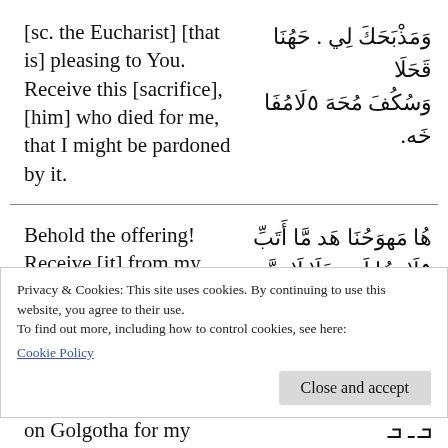[sc. the Eucharist] [that is] pleasing to You. Receive this [sacrifice], [him] who died for me, that I might be pardoned by it.
وَمَذْبَحَكَ لِي . حَهُنَا قَحَلَا وَسُكُفَ مُحَهَ ٥لَامُفَا خَه.
Behold the offering! Receive [it] from my hands, be pleased with me, and do not remember the sins I
هُا مَهوَحُنَا هَد مَّا أَتَبِّ ٥لَاوَحُا لَد . هَلَا لَاوَحَّ لَد سَلَهُ٥ وَهَدَنَا مَبُمَ
Privacy & Cookies: This site uses cookies. By continuing to use this website, you agree to their use.
To find out more, including how to control cookies, see here: Cookie Policy
Close and accept
on Golgotha for my